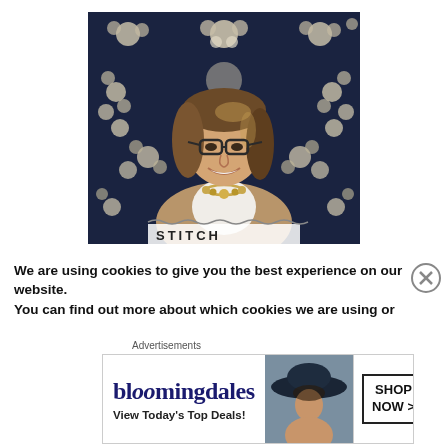[Figure (photo): A smiling woman with glasses and shoulder-length brunette/blonde hair, wearing a tan cardigan and statement necklace, standing in front of a dark navy quilt with white floral appliqué patterns. The word 'STITCH' is partially visible at the bottom of the photo.]
We are using cookies to give you the best experience on our website.
You can find out more about which cookies we are using or
Advertisements
[Figure (other): Bloomingdale's advertisement banner: logo text 'bloomingdales' with 'View Today's Top Deals!' tagline, a model wearing a large-brimmed hat, and a 'SHOP NOW >' call-to-action button.]